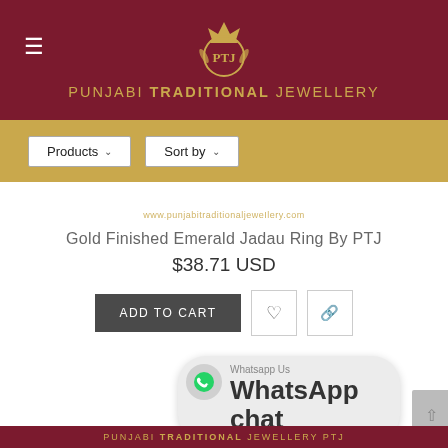[Figure (logo): Punjabi Traditional Jewellery logo with crown emblem on dark red background, gold text reading PUNJABI TRADITIONAL JEWELLERY]
[Figure (screenshot): Filter bar with Products and Sort by dropdown buttons on a gold background]
www.punjabitraditionaljeweIlery.com
Gold Finished Emerald Jadau Ring By PTJ
$38.71 USD
[Figure (screenshot): ADD TO CART button in dark grey, heart icon button, link icon button]
[Figure (screenshot): WhatsApp chat overlay widget showing WhatsApp Us label and WhatsApp chat text]
PUNJABI TRADITIONAL JEWELLERY PTJ